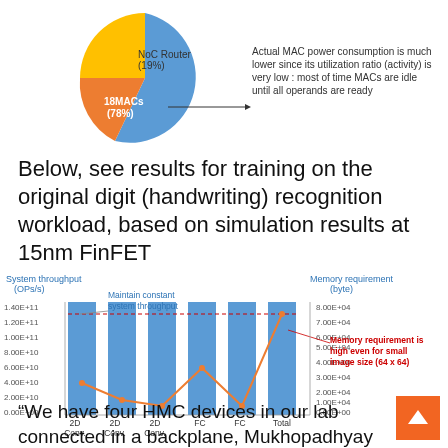[Figure (pie-chart): Pie chart showing NoC Router (19%) and 18MACs (78%) with annotation: Actual MAC power consumption is much lower since its utilization ratio (activity) is very low : most of time MACs are idle until all operands are ready]
Below, see results for training on the original digit (handwriting) recognition workload, based on simulation results at 15nm FinFET
[Figure (grouped-bar-chart): System throughput (OPs/s) and Memory requirement (byte)]
“We have four HMC devices in our lab connected in a backplane, Mukhopadhyay says. “We have a vision for